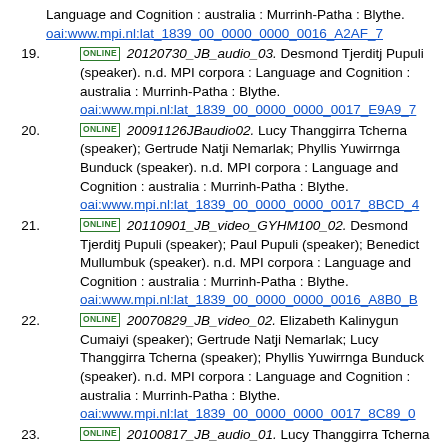Language and Cognition : australia : Murrinh-Patha : Blythe. oai:www.mpi.nl:lat_1839_00_0000_0000_0016_A2AF_7
19. ONLINE 20120730_JB_audio_03. Desmond Tjerditj Pupuli (speaker). n.d. MPI corpora : Language and Cognition : australia : Murrinh-Patha : Blythe. oai:www.mpi.nl:lat_1839_00_0000_0000_0017_E9A9_7
20. ONLINE 20091126JBaudio02. Lucy Thanggirra Tcherna (speaker); Gertrude Natji Nemarlak; Phyllis Yuwirrnga Bunduck (speaker). n.d. MPI corpora : Language and Cognition : australia : Murrinh-Patha : Blythe. oai:www.mpi.nl:lat_1839_00_0000_0000_0017_8BCD_4
21. ONLINE 20110901_JB_video_GYHM100_02. Desmond Tjerditj Pupuli (speaker); Paul Pupuli (speaker); Benedict Mullumbuk (speaker). n.d. MPI corpora : Language and Cognition : australia : Murrinh-Patha : Blythe. oai:www.mpi.nl:lat_1839_00_0000_0000_0016_A8B0_B
22. ONLINE 20070829_JB_video_02. Elizabeth Kalinygun Cumaiyi (speaker); Gertrude Natji Nemarlak; Lucy Thanggirra Tcherna (speaker); Phyllis Yuwirrnga Bunduck (speaker). n.d. MPI corpora : Language and Cognition : australia : Murrinh-Patha : Blythe. oai:www.mpi.nl:lat_1839_00_0000_0000_0017_8C89_0
23. ONLINE 20100817_JB_audio_01. Lucy Thanggirra Tcherna (speaker); Gertrude Natji Nemarlak; Phyllis Yuwirrnga Bunduck (speaker). n.d. MPI corpora : Language and Cognition : australia : Murrinh-Patha : Blythe. oai:www.mpi.nl:lat_1839_00_0000_0000_0016_A32F_7
24. ONLINE 20100821_JB_audio_02. n.a. n.d. MPI corpora :